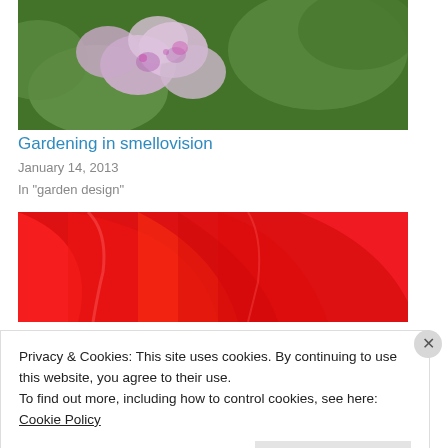[Figure (photo): Close-up photo of pink geranium flowers with green leafy background]
Gardening in smellovision
January 14, 2013
In "garden design"
[Figure (photo): Close-up photo of red tulip petals]
Privacy & Cookies: This site uses cookies. By continuing to use this website, you agree to their use.
To find out more, including how to control cookies, see here: Cookie Policy